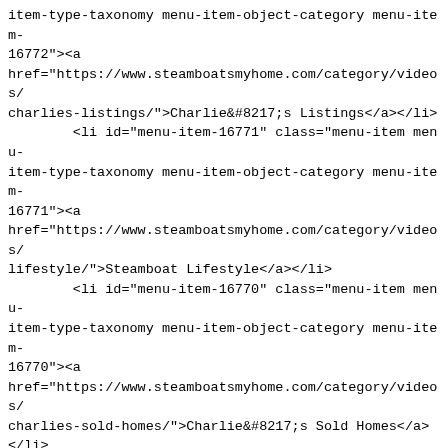item-type-taxonomy menu-item-object-category menu-item-16772"><a
href="https://www.steamboatsmyhome.com/category/videos/charlies-listings/">Charlie&#8217;s Listings</a></li>
        <li id="menu-item-16771" class="menu-item menu-item-type-taxonomy menu-item-object-category menu-item-16771"><a
href="https://www.steamboatsmyhome.com/category/videos/lifestyle/">Steamboat Lifestyle</a></li>
        <li id="menu-item-16770" class="menu-item menu-item-type-taxonomy menu-item-object-category menu-item-16770"><a
href="https://www.steamboatsmyhome.com/category/videos/charlies-sold-homes/">Charlie&#8217;s Sold Homes</a>
</li>
        <li id="menu-item-16768" class="menu-item menu-item-type-taxonomy menu-item-object-category menu-item-16768"><a
href="https://www.steamboatsmyhome.com/category/videos/monthly-market-report/">Market Reports</a></li>
        <li id="menu-item-16769" class="menu-item menu-item-type-taxonomy menu-item-object-category menu-item-16769"><a
href="https://www.steamboatsmyhome.com/category/videos/homeowner-tips/">Homeowner Tips</a></li>
</ul>
</div><div class="column column-block"><h4><a
href="https://www.steamboatsmyhome.com/about-me-charlie-dresen/">About</a></h4>
<ul class="menu">